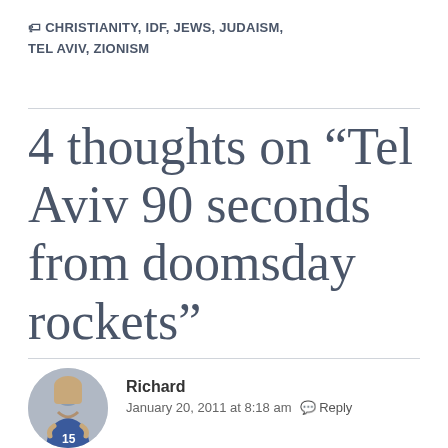🏷 CHRISTIANITY, IDF, JEWS, JUDAISM, TEL AVIV, ZIONISM
4 thoughts on “Tel Aviv 90 seconds from doomsday rockets”
Richard
January 20, 2011 at 8:18 am  Reply